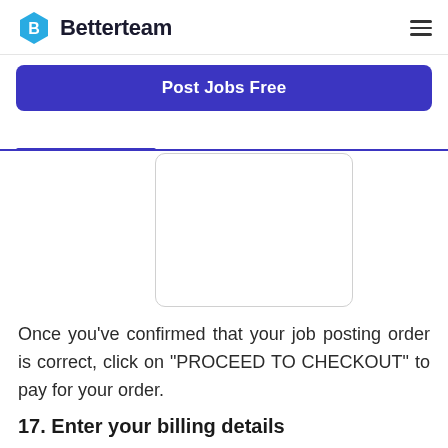Betterteam
Post Jobs Free
[Figure (screenshot): Screenshot of a job posting order review page on Betterteam]
Once you've confirmed that your job posting order is correct, click on "PROCEED TO CHECKOUT" to pay for your order.
17. Enter your billing details